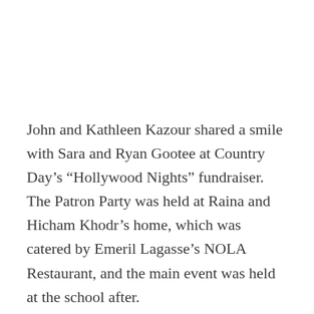John and Kathleen Kazour shared a smile with Sara and Ryan Gootee at Country Day’s “Hollywood Nights” fundraiser. The Patron Party was held at Raina and Hicham Khodr’s home, which was catered by Emeril Lagasse’s NOLA Restaurant, and the main event was held at the school after.